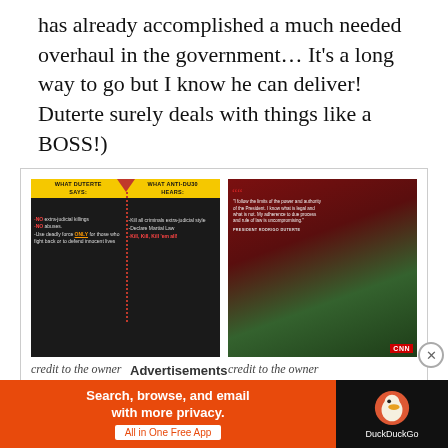has already accomplished a much needed overhaul in the government… It's a long way to go but I know he can deliver! Duterte surely deals with things like a BOSS!)
[Figure (photo): Split meme image: left panel 'What Duterte Says' with yellow header and text about no extra-judicial killings, no abuses, use deadly force ONLY for those who fight back or to defend innocent lives; right panel 'What Anti-DU30 Hears' with yellow header and text about Kill all criminals extra-judicial style, Declare Martial Law, Kill Kill Kill 'em all! Caption: credit to the owner]
[Figure (photo): CNN Philippines image of Duterte with quote: 'I follow the limits of the power and authority of the President. I know what is legal and what is not. My adherence to due process and rule of law is uncompromising.' - President Rodrigo Duterte. Caption: credit to the owner]
Advertisements
[Figure (screenshot): DuckDuckGo advertisement banner: 'Search, browse, and email with more privacy. All in One Free App' on orange background with DuckDuckGo logo on dark background]